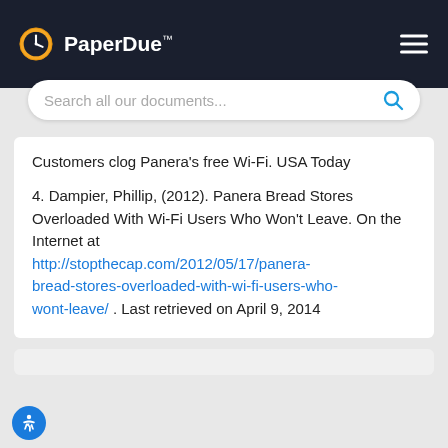PaperDue™
Customers clog Panera's free Wi-Fi. USA Today
4. Dampier, Phillip, (2012). Panera Bread Stores Overloaded With Wi-Fi Users Who Won't Leave. On the Internet at http://stopthecap.com/2012/05/17/panera-bread-stores-overloaded-with-wi-fi-users-who-wont-leave/ . Last retrieved on April 9, 2014